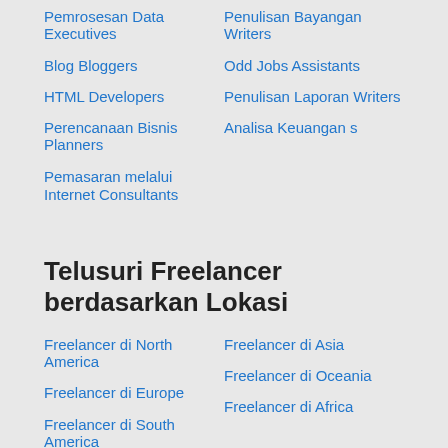Pemrosesan Data Executives
Penulisan Bayangan Writers
Blog Bloggers
Odd Jobs Assistants
HTML Developers
Penulisan Laporan Writers
Perencanaan Bisnis Planners
Analisa Keuangan s
Pemasaran melalui Internet Consultants
Telusuri Freelancer berdasarkan Lokasi
Freelancer di North America
Freelancer di Asia
Freelancer di Europe
Freelancer di Oceania
Freelancer di South America
Freelancer di Africa
Freelancer di Other Countries